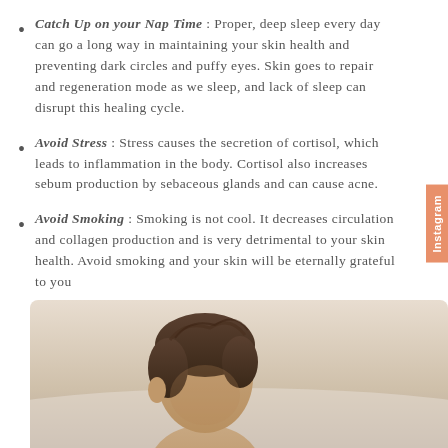Catch Up on your Nap Time : Proper, deep sleep every day can go a long way in maintaining your skin health and preventing dark circles and puffy eyes. Skin goes to repair and regeneration mode as we sleep, and lack of sleep can disrupt this healing cycle.
Avoid Stress : Stress causes the secretion of cortisol, which leads to inflammation in the body. Cortisol also increases sebum production by sebaceous glands and can cause acne.
Avoid Smoking : Smoking is not cool. It decreases circulation and collagen production and is very detrimental to your skin health. Avoid smoking and your skin will be eternally grateful to you
[Figure (photo): Photo of a person with their head slightly bowed, photographed from above at an angle, with a light background.]